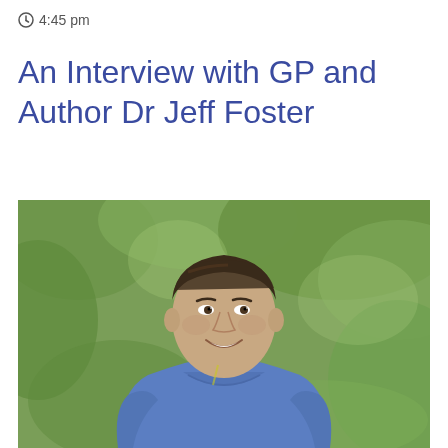4:45 pm
An Interview with GP and Author Dr Jeff Foster
[Figure (photo): Professional headshot of Dr Jeff Foster, a smiling middle-aged man with dark hair, wearing blue medical scrubs, photographed outdoors with green trees/foliage in the background.]